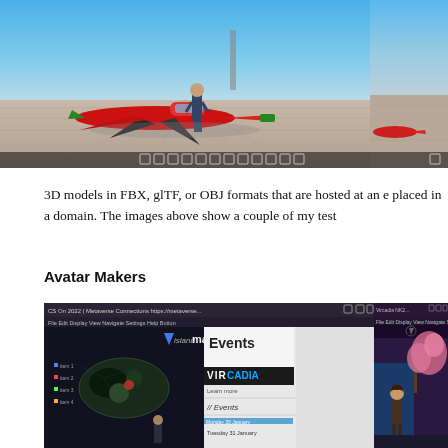[Figure (screenshot): 3D virtual world screenshot showing a red jet aircraft on a tarmac with a human avatar standing nearby, blue sky background, with toolbar at bottom. Partially cropped on right side.]
3D models in FBX, glTF, or OBJ formats that are hosted at an e placed in a domain. The images above show a couple of my test
Avatar Makers
[Figure (screenshot): Screenshots of Vircadia virtual world application showing island map interface and Events page with VIRCADIA branding, alongside another window with a character avatar in a garden scene with pink blossoms.]